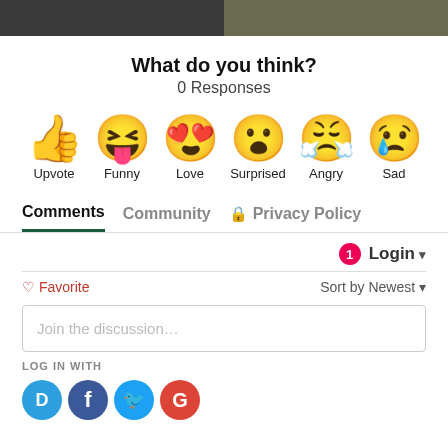[Figure (photo): Two cropped photo thumbnails at the top of the page]
What do you think?
0 Responses
[Figure (infographic): Six emoji reaction buttons: Upvote (thumbs up), Funny (laughing face), Love (heart eyes), Surprised (surprised face), Angry (crying angry face), Sad (sad face with tear)]
Comments   Community   🔒 Privacy Policy
1  Login ▾
♡ Favorite   Sort by Newest ▾
Join the discussion...
LOG IN WITH
[Figure (infographic): Social login icons: Disqus (D), Facebook (f), Twitter bird, Google (G)]